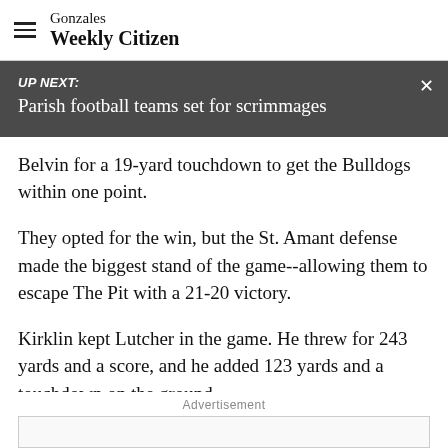Gonzales Weekly Citizen
UP NEXT: Parish football teams set for scrimmages
Belvin for a 19-yard touchdown to get the Bulldogs within one point.
They opted for the win, but the St. Amant defense made the biggest stand of the game--allowing them to escape The Pit with a 21-20 victory.
Kirklin kept Lutcher in the game. He threw for 243 yards and a score, and he added 123 yards and a touchdown on the ground.
Advertisement